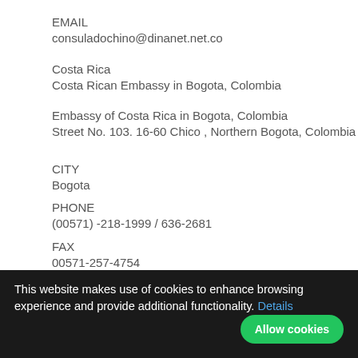EMAIL
consuladochino@dinanet.net.co
Costa Rica
Costa Rican Embassy in Bogota, Colombia
Embassy of Costa Rica in Bogota, Colombia
Street No. 103. 16-60 Chico , Northern Bogota, Colombia
CITY
Bogota
PHONE
(00571) -218-1999 / 636-2681
FAX
00571-257-4754
WEBSITE
http://www.embajadadecostarica.org
EMAIL
This website makes use of cookies to enhance browsing experience and provide additional functionality. Details  Allow cookies